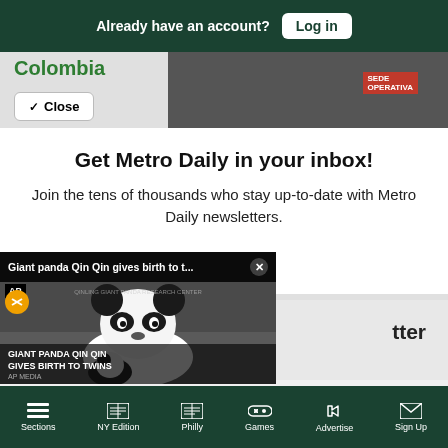Already have an account? Log in
Colombia
✓ Close
Get Metro Daily in your inbox!
Join the tens of thousands who stay up-to-date with Metro Daily newsletters.
[Figure (screenshot): AP video overlay showing Giant panda Qin Qin gives birth to twins, with mute button and close X]
tter
Sections | NY Edition | Philly | Games | Advertise | Sign Up